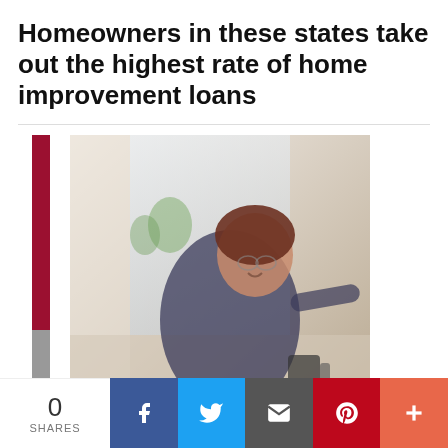Homeowners in these states take out the highest rate of home improvement loans
[Figure (photo): A woman smiling and holding a mug, seated in a bright home interior, with a vertical red bar graphic on the left side of the image area]
0 SHARES | Share on Facebook | Share on Twitter | Email | Share on Pinterest | More